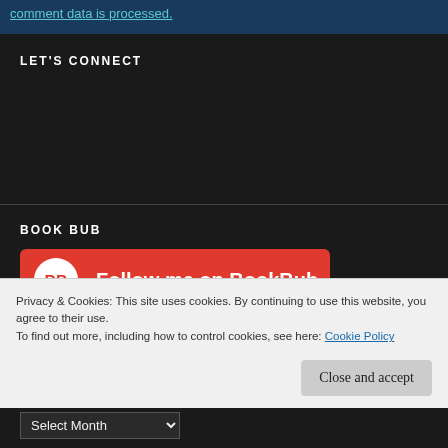comment data is processed.
LET'S CONNECT
BOOK BUB
[Figure (logo): Follow me on BookBub red button with BB logo]
Privacy & Cookies: This site uses cookies. By continuing to use this website, you agree to their use. To find out more, including how to control cookies, see here: Cookie Policy
Close and accept
Select Month